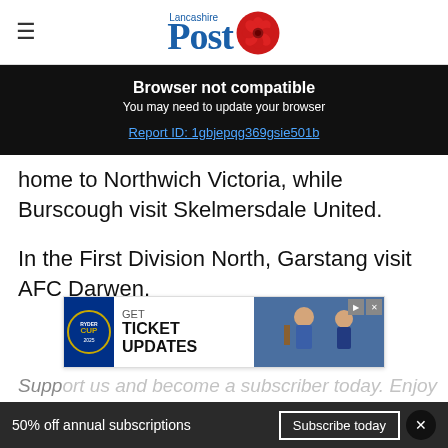Lancashire Post
[Figure (screenshot): Browser not compatible banner with report ID link on dark background]
home to Northwich Victoria, while Burscough visit Skelmersdale United.
In the First Division North, Garstang visit AFC Darwen.
[Figure (infographic): Advertisement banner: GET TICKET UPDATES - Ryder Cup, with image of golfers]
Subscribe and become a subscriber today. Enjoy
50% off annual subscriptions   Subscribe today